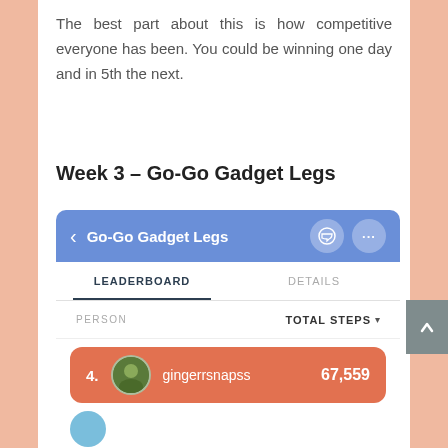The best part about this is how competitive everyone has been. You could be winning one day and in 5th the next.
Week 3 – Go-Go Gadget Legs
[Figure (screenshot): Mobile app screenshot showing a Fitbit-style leaderboard for a challenge called 'Go-Go Gadget Legs'. Has a blue header bar with back arrow, message icon, and ellipsis icon. Below are two tabs: LEADERBOARD (active, underlined) and DETAILS. A PERSON column and TOTAL STEPS sort option are shown. An orange/salmon row shows rank 4, user 'gingerrsnapss', with 67,559 steps.]